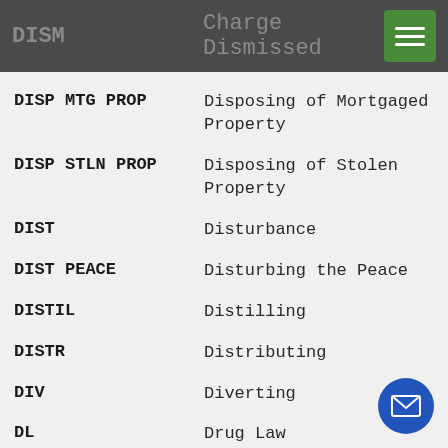DISM   Charge Dismissed
DISP MTG PROP — Disposing of Mortgaged Property
DISP STLN PROP — Disposing of Stolen Property
DIST — Disturbance
DIST PEACE — Disturbing the Peace
DISTIL — Distilling
DISTR — Distributing
DIV — Diverting
DL — Drug Law
DMG PROP — Damaging Property